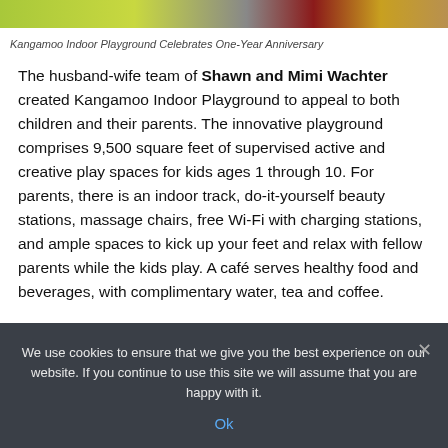[Figure (photo): Top strip of an indoor playground image showing green, grey, red, and tan colors.]
Kangamoo Indoor Playground Celebrates One-Year Anniversary
The husband-wife team of Shawn and Mimi Wachter created Kangamoo Indoor Playground to appeal to both children and their parents. The innovative playground comprises 9,500 square feet of supervised active and creative play spaces for kids ages 1 through 10. For parents, there is an indoor track, do-it-yourself beauty stations, massage chairs, free Wi-Fi with charging stations, and ample spaces to kick up your feet and relax with fellow parents while the kids play. A café serves healthy food and beverages, with complimentary water, tea and coffee.
We use cookies to ensure that we give you the best experience on our website. If you continue to use this site we will assume that you are happy with it.
Ok